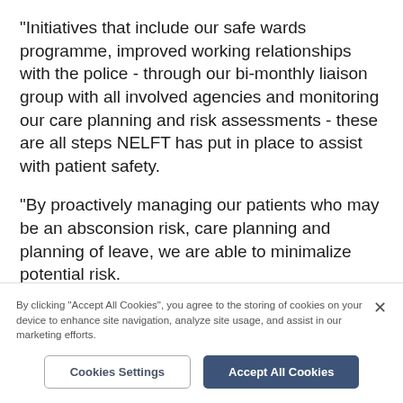"Initiatives that include our safe wards programme, improved working relationships with the police - through our bi-monthly liaison group with all involved agencies and monitoring our care planning and risk assessments - these are all steps NELFT has put in place to assist with patient safety.
"By proactively managing our patients who may be an absconsion risk, care planning and planning of leave, we are able to minimalize potential risk.
"Our approaches all point towards improved care and management of risk."
By clicking "Accept All Cookies", you agree to the storing of cookies on your device to enhance site navigation, analyze site usage, and assist in our marketing efforts.